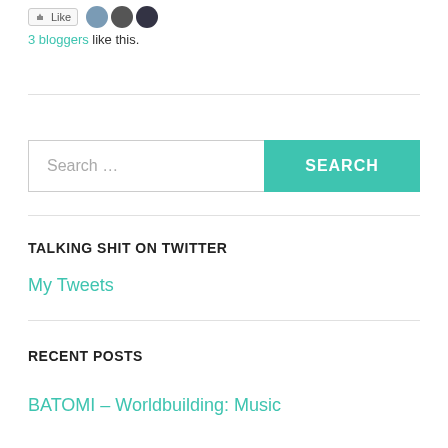[Figure (screenshot): Like button with avatar thumbnails of 3 bloggers]
3 bloggers like this.
[Figure (screenshot): Search bar with Search … placeholder and green SEARCH button]
TALKING SHIT ON TWITTER
My Tweets
RECENT POSTS
BATOMI – Worldbuilding: Music